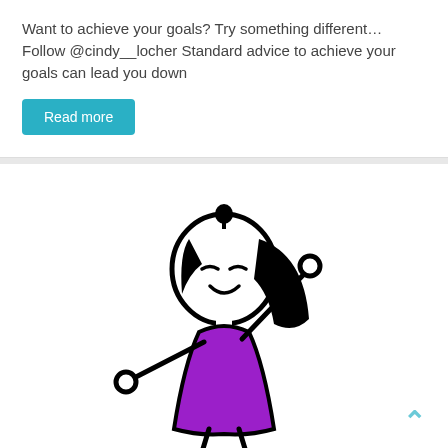Want to achieve your goals? Try something different… Follow @cindy__locher Standard advice to achieve your goals can lead you down
Read more
[Figure (illustration): A stick figure illustration of a happy girl with black hair wearing a purple dress, raising one arm up with a fist and extending the other arm outward, appearing joyful and celebratory.]